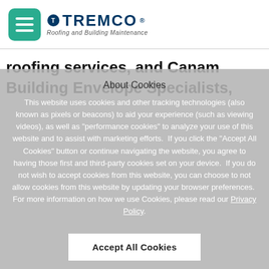Tremco Roofing and Building Maintenance logo with hamburger menu icon
roofing services, and Canam Building Envelope Specialists,
About Cookies
This website uses cookies and other tracking technologies (also known as pixels or beacons) to aid your experience (such as viewing videos), as well as "performance cookies" to analyze your use of this website and to assist with marketing efforts.  If you click the "Accept All Cookies" button or continue navigating the website, you agree to having those first and third-party cookies set on your device.  If you do not wish to accept cookies from this website, you can choose to not allow cookies from this website by updating your browser preferences.  For more information on how we use Cookies, please read our Privacy Policy.
Accept All Cookies